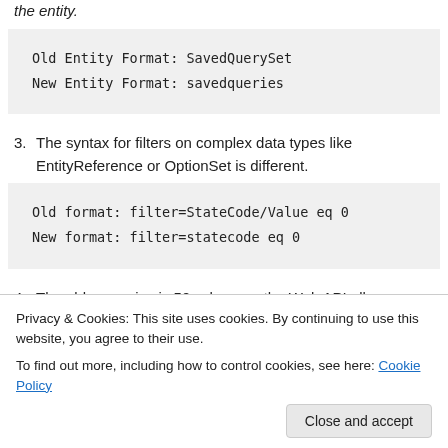the entity.
Old Entity Format: SavedQuerySet
New Entity Format: savedqueries
3. The syntax for filters on complex data types like EntityReference or OptionSet is different.
Old format: filter=StateCode/Value eq 0
New format: filter=statecode eq 0
4. The old page size is 50, whereas, the Web API allows you to set the page size, which in turn can improve
Privacy & Cookies: This site uses cookies. By continuing to use this website, you agree to their use.
To find out more, including how to control cookies, see here: Cookie Policy
5. The next...